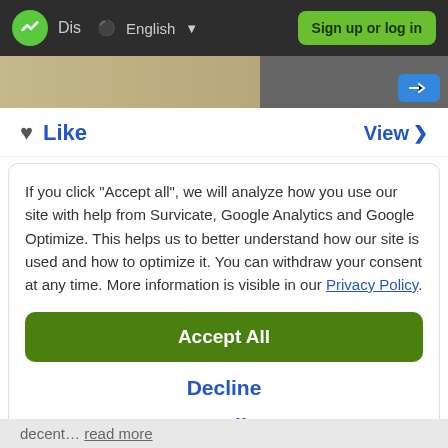Dis  English  Sign up or log in
[Figure (screenshot): Partial page screenshot showing image strip with a blue button]
Like   View >
If you click "Accept all", we will analyze how you use our site with help from Survicate, Google Analytics and Google Optimize. This helps us to better understand how our site is used and how to optimize it. You can withdraw your consent at any time. More information is visible in our Privacy Policy.
Accept All
Decline
Details
decent... read more